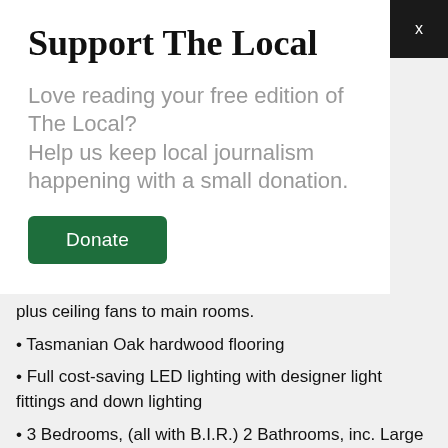Support The Local
Love reading your free edition of The Local?
Help us keep local journalism happening with a small donation.
Donate
plus ceiling fans to main rooms.
Tasmanian Oak hardwood flooring
Full cost-saving LED lighting with designer light fittings and down lighting
3 Bedrooms, (all with B.I.R.) 2 Bathrooms, inc. Large ensuite to Master
Designer kitchen with glossy white cabinetry, soft close drawers, quality S.S. appliances (900mm gas/electric